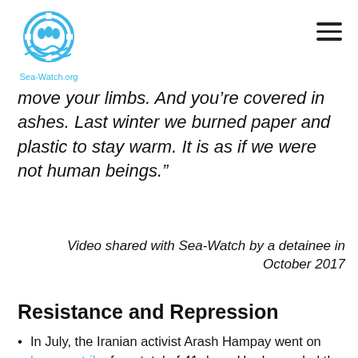Sea-Watch.org
move your limbs. And you’re covered in ashes. Last winter we burned paper and plastic to stay warm. It is as if we were not human beings.”
Video shared with Sea-Watch by a detainee in October 2017
Resistance and Repression
In July, the Iranian activist Arash Hampay went on hunger strike for a total of 41 days. He demanded the release of all arbitrarily detained refugees and migrants from Section B in Moria, who were presumed innocent and yet were detained without charge.